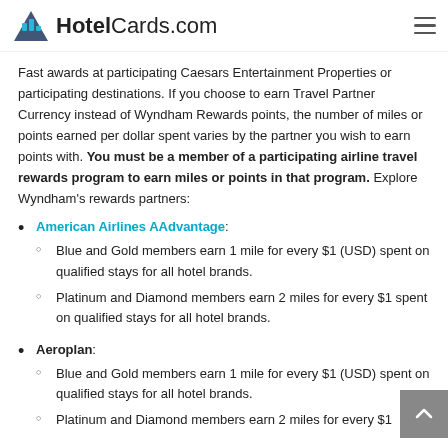HotelCards.com
Fast awards at participating Caesars Entertainment Properties or participating destinations. If you choose to earn Travel Partner Currency instead of Wyndham Rewards points, the number of miles or points earned per dollar spent varies by the partner you wish to earn points with. You must be a member of a participating airline travel rewards program to earn miles or points in that program. Explore Wyndham's rewards partners:
American Airlines AAdvantage:
Blue and Gold members earn 1 mile for every $1 (USD) spent on qualified stays for all hotel brands.
Platinum and Diamond members earn 2 miles for every $1 spent on qualified stays for all hotel brands.
Aeroplan:
Blue and Gold members earn 1 mile for every $1 (USD) spent on qualified stays for all hotel brands.
Platinum and Diamond members earn 2 miles for every $1